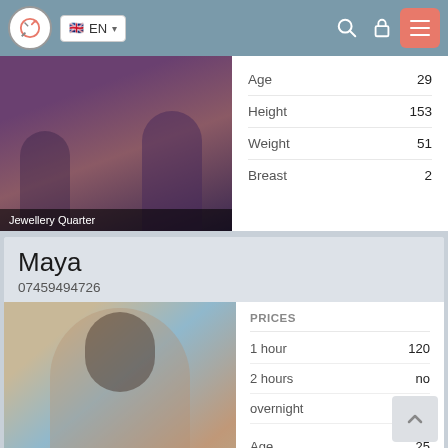EN — navigation bar with logo, language selector, search, lock, menu icons
[Figure (photo): Partial photo of person at bar/venue, purple-toned interior. Location tag: Jewellery Quarter]
|  |  |
| --- | --- |
| Age | 29 |
| Height | 153 |
| Weight | 51 |
| Breast | 2 |
Jewellery Quarter
Maya
07459494726
[Figure (photo): Photo of dark-haired woman, blurred face]
| PRICES |  |
| --- | --- |
| 1 hour | 120 |
| 2 hours | no |
| overnight | no |
| Age | 25 |
| Height | 166 |
| Weight | 59 |
| Breast | 2 |